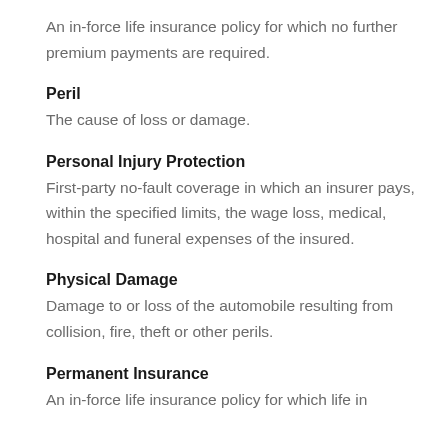An in-force life insurance policy for which no further premium payments are required.
Peril
The cause of loss or damage.
Personal Injury Protection
First-party no-fault coverage in which an insurer pays, within the specified limits, the wage loss, medical, hospital and funeral expenses of the insured.
Physical Damage
Damage to or loss of the automobile resulting from collision, fire, theft or other perils.
Permanent Insurance
An in-force life insurance policy for which life...